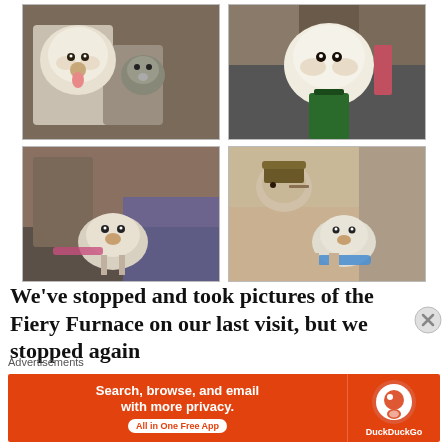[Figure (photo): Four photos of dogs in a car arranged in a 2x2 grid. Top-left: fluffy white dog and small grey dog in back seat. Top-right: white fluffy dog wearing green harness standing on person. Bottom-left: small dog on lap in back seat. Bottom-right: man driving with small dog wearing blue bandana on lap.]
We've stopped and took pictures of the Fiery Furnace on our last visit, but we stopped again
Advertisements
[Figure (screenshot): DuckDuckGo advertisement banner: orange background with text 'Search, browse, and email with more privacy. All in One Free App' and DuckDuckGo logo on right.]